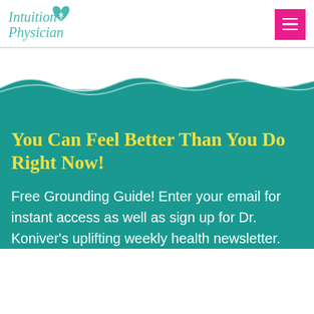Intuition Physician
[Figure (logo): Intuition Physician logo with teal cursive text and a heart with caduceus icon]
[Figure (illustration): Teal wave/ocean illustration separating white header area from teal background section]
You Can Feel Better Than You Do Right Now!
Free Grounding Guide! Enter your email for instant access as well as sign up for Dr. Koniver's uplifting weekly health newsletter.